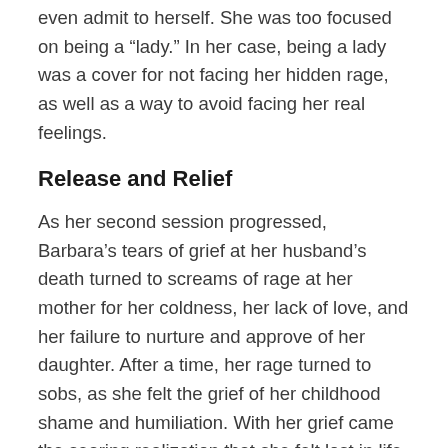even admit to herself. She was too focused on being a “lady.” In her case, being a lady was a cover for not facing her hidden rage, as well as a way to avoid facing her real feelings.
Release and Relief
As her second session progressed, Barbara’s tears of grief at her husband’s death turned to screams of rage at her mother for her coldness, her lack of love, and her failure to nurture and approve of her daughter. After a time, her rage turned to sobs, as she felt the grief of her childhood shame and humiliation. With her grief came the searing realization that she felt lost in life and had no idea of who she really was. As that insight hit her, Barbara’s sobs deepened and a plaintive scream arose from that deep, lost place inside her. The scream started out loud and fierce and long, running slowly out of steam until it became a whisper, then a sound no more. She took a moment, gathered the breath back into her body, and